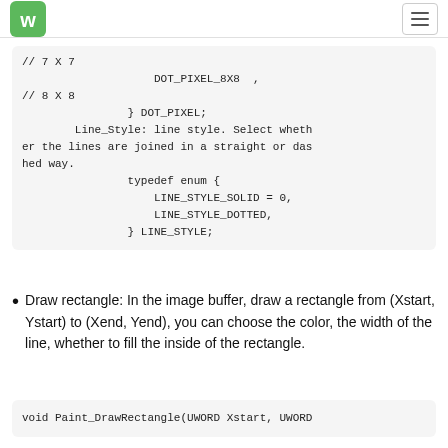Waveshare logo and navigation menu
// 7 X 7
                    DOT_PIXEL_8X8  ,
// 8 X 8
                } DOT_PIXEL;
        Line_Style: line style. Select whether the lines are joined in a straight or dashed way.
                typedef enum {
                    LINE_STYLE_SOLID = 0,
                    LINE_STYLE_DOTTED,
                } LINE_STYLE;
Draw rectangle: In the image buffer, draw a rectangle from (Xstart, Ystart) to (Xend, Yend), you can choose the color, the width of the line, whether to fill the inside of the rectangle.
void Paint_DrawRectangle(UWORD Xstart, UWORD